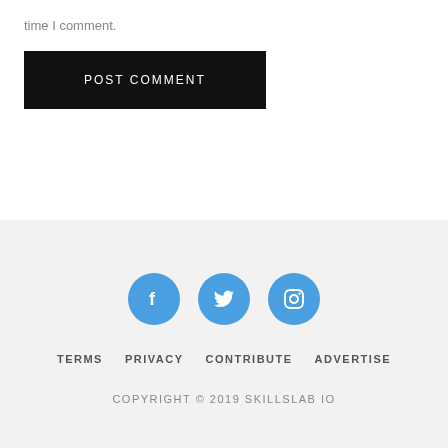time I comment.
POST COMMENT
TERMS   PRIVACY   CONTRIBUTE   ADVERTISE
COPYRIGHT © 2019 SKILLSLAB IO